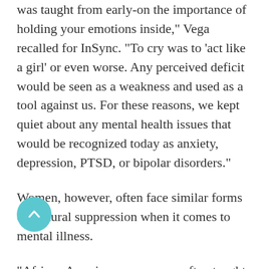was taught from early-on the importance of holding your emotions inside," Vega recalled for InSync. "To cry was to 'act like a girl' or even worse. Any perceived deficit would be seen as a weakness and used as a tool against us. For these reasons, we kept quiet about any mental health issues that would be recognized today as anxiety, depression, PTSD, or bipolar disorders."
Women, however, often face similar forms of cultural suppression when it comes to mental illness.
"African American women are often taught they have to be strong," says Myisha Jackson, owner of the Healing Journey Counseling Center in Monroe, Louisiana, where she works primarily with African American women experiencing anxiety, depression,